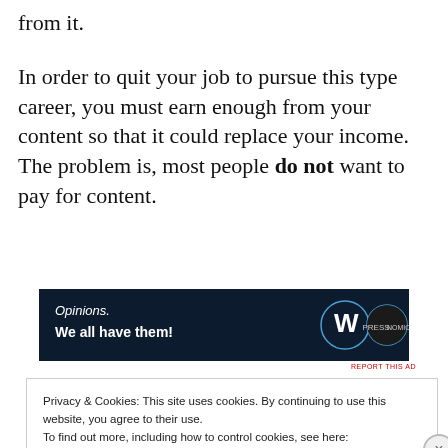from it.
In order to quit your job to pursue this type career, you must earn enough from your content so that it could replace your income. The problem is, most people do not want to pay for content.
[Figure (advertisement): WordPress and Pressnomics advertisement banner with dark navy background. Text reads 'Opinions. We all have them!' with WordPress W logo and Pressnomics circular logo.]
REPORT THIS AD
Privacy & Cookies: This site uses cookies. By continuing to use this website, you agree to their use.
To find out more, including how to control cookies, see here:
Cookie Policy
Close and accept